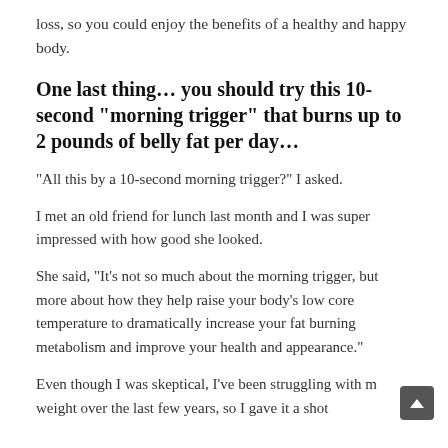loss, so you could enjoy the benefits of a healthy and happy body.
One last thing… you should try this 10-second “morning trigger” that burns up to 2 pounds of belly fat per day…
“All this by a 10-second morning trigger?” I asked.
I met an old friend for lunch last month and I was super impressed with how good she looked.
She said, “It’s not so much about the morning trigger, but more about how they help raise your body’s low core temperature to dramatically increase your fat burning metabolism and improve your health and appearance.”
Even though I was skeptical, I’ve been struggling with my weight over the last few years, so I gave it a shot